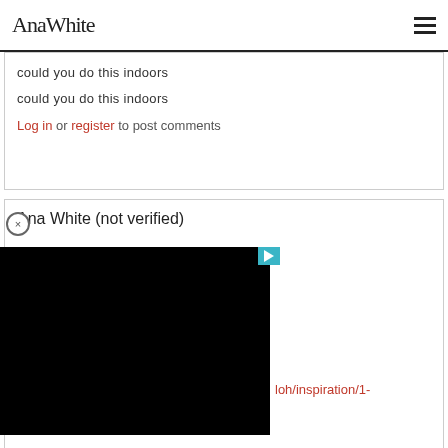AnaWhite
could you do this indoors
could you do this indoors
Log in or register to post comments
Ana White (not verified)
[Figure (screenshot): Black video player with teal play button in upper right corner]
loh/inspiration/1-
Log in or register to post comments